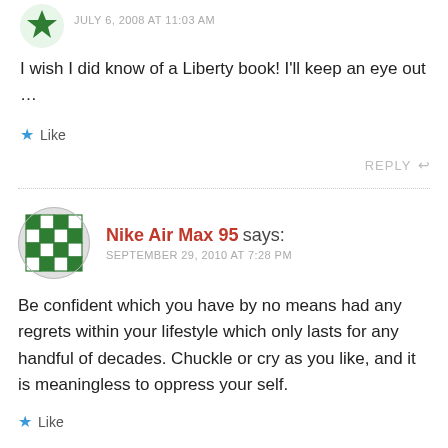JULY 6, 2008 AT 11:03 AM
I wish I did know of a Liberty book! I'll keep an eye out …
★ Like
REPLY ↩
Nike Air Max 95 says: SEPTEMBER 29, 2010 AT 7:28 PM
Be confident which you have by no means had any regrets within your lifestyle which only lasts for any handful of decades. Chuckle or cry as you like, and it is meaningless to oppress your self.
★ Like